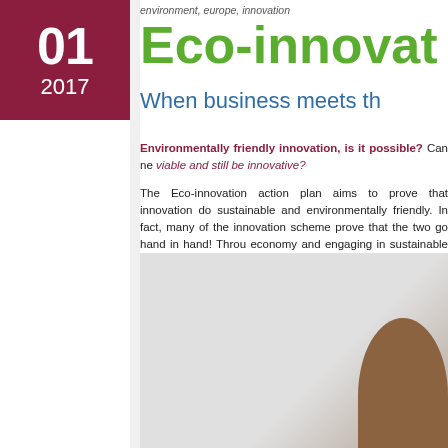environment, europe, innovation
Eco-innovat
When business meets th
Environmentally friendly innovation, is it possible? Can ne viable and still be innovative?
The Eco-innovation action plan aims to prove that innovation do sustainable and environmentally friendly. In fact, many of the innovation scheme prove that the two go hand in hand! Throu economy and engaging in sustainable practices, SMEs do innovation and can in fact make it a strong part of their identity a
Sound interesting? Interested in finding out more about: Eco-fr from soda bottles or ECO°PAPER made out of confectionary p project gallery to discover the diverseness of Eco-innovation in E
[Figure (photo): Photo of a person or object against a light grey background with a brown/earth-toned shape at bottom right]